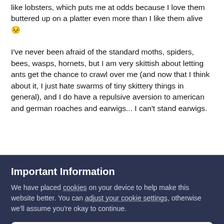like lobsters, which puts me at odds because I love them buttered up on a platter even more than I like them alive 😣
I've never been afraid of the standard moths, spiders, bees, wasps, hornets, but I am very skittish about letting ants get the chance to crawl over me (and now that I think about it, I just hate swarms of tiny skittery things in general), and I do have a repulsive aversion to american and german roaches and earwigs... I can't stand earwigs.
Skye
Important Information
We have placed cookies on your device to help make this website better. You can adjust your cookie settings, otherwise we'll assume you're okay to continue.
✓  I accept